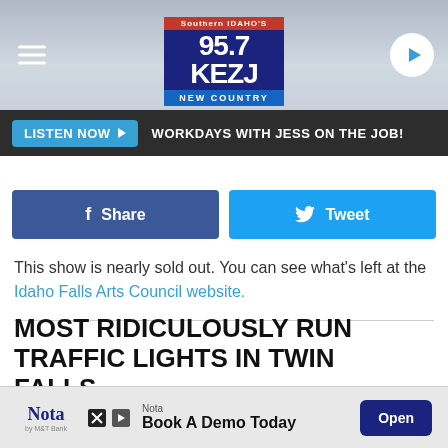[Figure (screenshot): 95.7 KEZJ New Country radio station header with logo, hamburger menu, and play button on a grey background]
LISTEN NOW ▶  WORKDAYS WITH JESS ON THE JOB!
Share  Tweet (social share buttons)
This show is nearly sold out. You can see what's left at the Idaho Falls Arts Council website.
MOST RIDICULOUSLY RUN TRAFFIC LIGHTS IN TWIN FALLS
We asked and Twin Falls responded. Here are your answers to the question: Where are the most run red lights in Twin
[Figure (screenshot): Advertisement banner: Nota - Book A Demo Today with Open button]